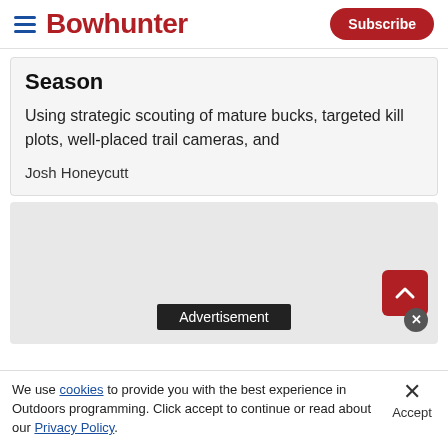Bowhunter | Subscribe
Season
Using strategic scouting of mature bucks, targeted kill plots, well-placed trail cameras, and
Josh Honeycutt
[Figure (other): Advertisement placeholder area with grey background and 'Advertisement' label in dark box. Red scroll-up button with caret and close circle overlay.]
We use cookies to provide you with the best experience in Outdoors programming. Click accept to continue or read about our Privacy Policy.